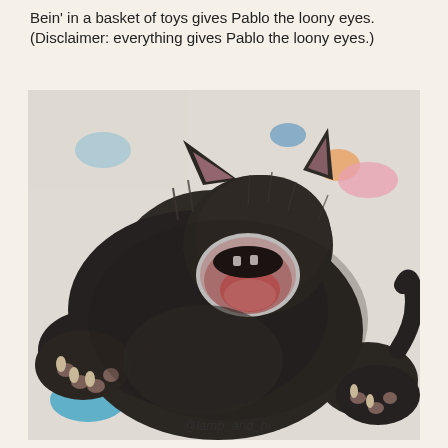Bein' in a basket of toys gives Pablo the loony eyes. (Disclaimer: everything gives Pablo the loony eyes.)
[Figure (photo): A dark grey/black fluffy kitten lying on its back on a light-colored fuzzy rug with colorful polka dot spots (blue, orange, pink, teal). The kitten has its mouth wide open in a yawn or meow, showing pink tongue and mouth interior. Its paws are extended. There is a watermark at the bottom that reads '@lamp_and_hi...' (partially visible).]